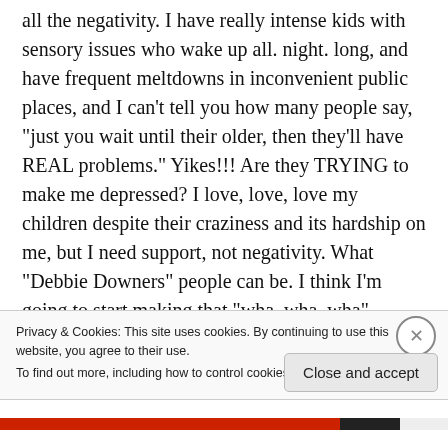all the negativity. I have really intense kids with sensory issues who wake up all. night. long, and have frequent meltdowns in inconvenient public places, and I can't tell you how many people say, "just you wait until their older, then they'll have REAL problems." Yikes!!! Are they TRYING to make me depressed? I love, love, love my children despite their craziness and its hardship on me, but I need support, not negativity. What "Debbie Downers" people can be. I think I'm going to start making that "wha, wha, wha"
Privacy & Cookies: This site uses cookies. By continuing to use this website, you agree to their use.
To find out more, including how to control cookies, see here: Cookie Policy
Close and accept